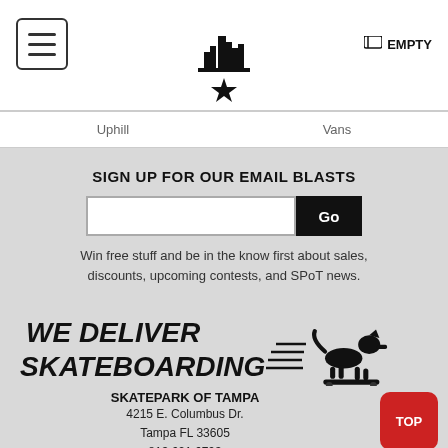EMPTY
Uphill   Vans
SIGN UP FOR OUR EMAIL BLASTS
Win free stuff and be in the know first about sales, discounts, upcoming contests, and SPoT news.
[Figure (logo): We Deliver Skateboarding logo with running dog illustration]
SKATEPARK OF TAMPA
4215 E. Columbus Dr.
Tampa FL 33605
813.621.6793